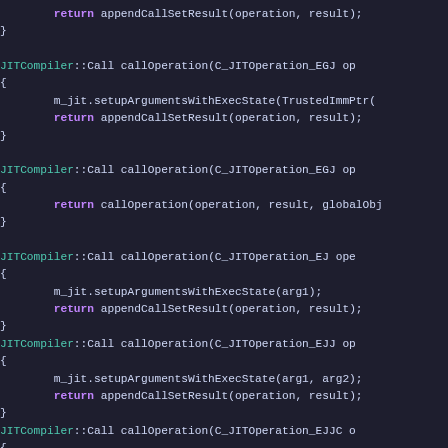Code snippet showing JITCompiler::Call callOperation function definitions in C++